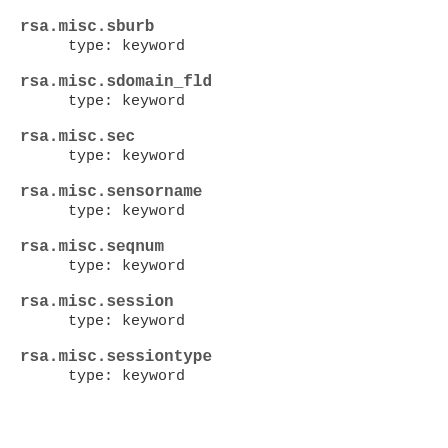rsa.misc.sburb
    type: keyword
rsa.misc.sdomain_fld
    type: keyword
rsa.misc.sec
    type: keyword
rsa.misc.sensorname
    type: keyword
rsa.misc.seqnum
    type: keyword
rsa.misc.session
    type: keyword
rsa.misc.sessiontype
    type: keyword